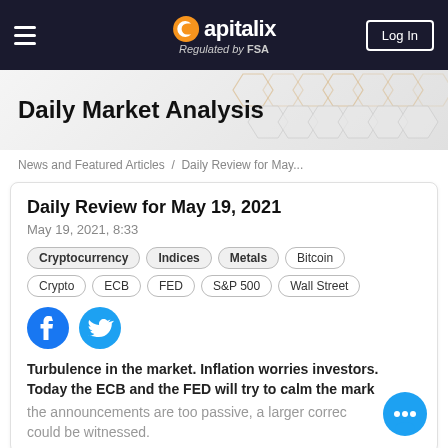Capitalix — Regulated by FSA
Daily Market Analysis
News and Featured Articles / Daily Review for May...
Daily Review for May 19, 2021
May 19, 2021, 8:33
Cryptocurrency
Indices
Metals
Bitcoin
Crypto
ECB
FED
S&P 500
Wall Street
[Figure (illustration): Facebook and Twitter social share icons]
Turbulence in the market. Inflation worries investors. Today the ECB and the FED will try to calm the market. If the announcements are too passive, a larger correction could be witnessed.